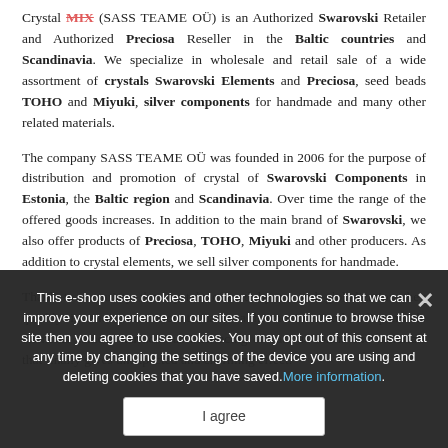Crystal MIX (SASS TEAME OÜ) is an Authorized Swarovski Retailer and Authorized Preciosa Reseller in the Baltic countries and Scandinavia. We specialize in wholesale and retail sale of a wide assortment of crystals Swarovski Elements and Preciosa, seed beads TOHO and Miyuki, silver components for handmade and many other related materials.
The company SASS TEAME OÜ was founded in 2006 for the purpose of distribution and promotion of crystal of Swarovski Components in Estonia, the Baltic region and Scandinavia. Over time the range of the offered goods increases. In addition to the main brand of Swarovski, we also offer products of Preciosa, TOHO, Miyuki and other producers. As addition to crystal elements, we sell silver components for handmade.
Thank to a variety the crystals offered by us and globalization they quickly in enormous amounts came a harmonious and indispensable elements came a harmonious interlacing of various forms and materials that finally gives unexpected and charming effect.
This e-shop uses cookies and other technologies so that we can improve your experience on our sites. If you continue to browse thise site then you agree to use cookies. You may opt out of this consent at any time by changing the settings of the device you are using and deleting cookies that you have saved. More information.